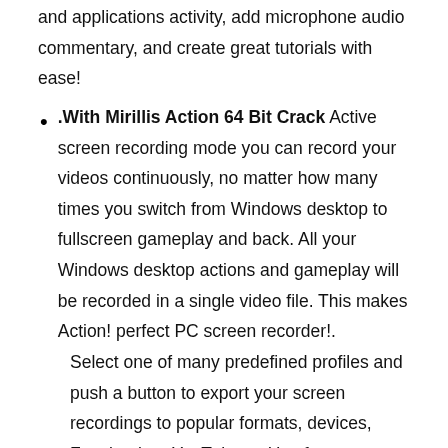and applications activity, add microphone audio commentary, and create great tutorials with ease!
.With Mirillis Action 64 Bit Crack Active screen recording mode you can record your videos continuously, no matter how many times you switch from Windows desktop to fullscreen gameplay and back. All your Windows desktop actions and gameplay will be recorded in a single video file. This makes Action! perfect PC screen recorder!.
Select one of many predefined profiles and push a button to export your screen recordings to popular formats, devices, Facebook or YouTube™. Use fast, hardware-accelerated video exporting with NVIDIA® NVENC, AMD APP, or Intel® Quick